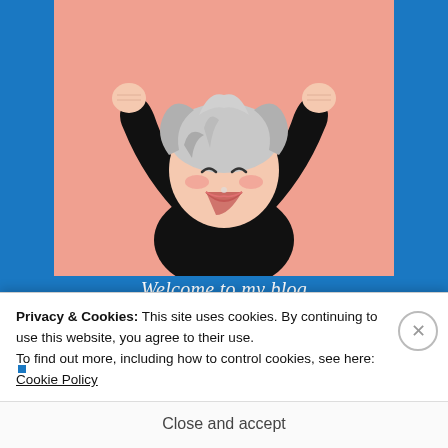[Figure (illustration): Anime-style cartoon character with silver/gray hair, wearing a black long-sleeve shirt, arms raised up with fists, eyes closed, smiling widely, on a pink/salmon background. Blue website background surrounds the pink illustration area.]
Welcome to my blog
Privacy & Cookies: This site uses cookies. By continuing to use this website, you agree to their use.
To find out more, including how to control cookies, see here: Cookie Policy
Close and accept